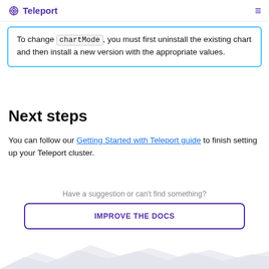Teleport
To change chartMode, you must first uninstall the existing chart and then install a new version with the appropriate values.
Next steps
You can follow our Getting Started with Teleport guide to finish setting up your Teleport cluster.
Have a suggestion or can't find something?
IMPROVE THE DOCS
[Figure (illustration): Mountain silhouette footer illustration in light grey]